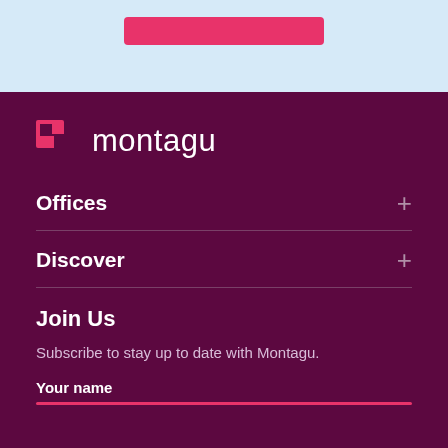[Figure (other): Light blue top section with a pink button partially visible]
[Figure (logo): Montagu logo: red angular icon followed by the word montagu in white on dark purple background]
Offices
Discover
Join Us
Subscribe to stay up to date with Montagu.
Your name